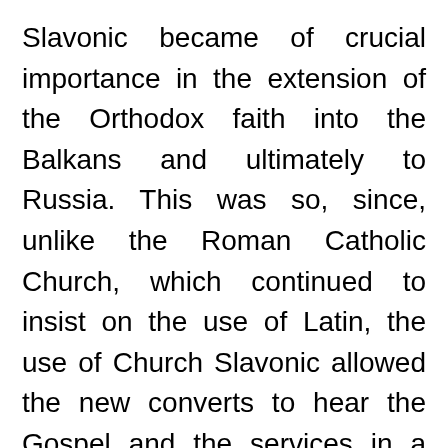Slavonic became of crucial importance in the extension of the Orthodox faith into the Balkans and ultimately to Russia. This was so, since, unlike the Roman Catholic Church, which continued to insist on the use of Latin, the use of Church Slavonic allowed the new converts to hear the Gospel and the services in a language they could understand.
The Mission to Moravia was ultimately doomed to failure because of the